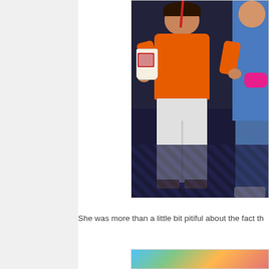[Figure (photo): A child wearing an orange shirt and white pants holding a large drink cup with a straw, standing on a dark patterned carpet. Another child is partially visible on the right side.]
She was more than a little bit pitiful about the fact th
[Figure (photo): Partial view of a colorful image, appears to show animated or illustrated characters with blue, green, and orange colors.]